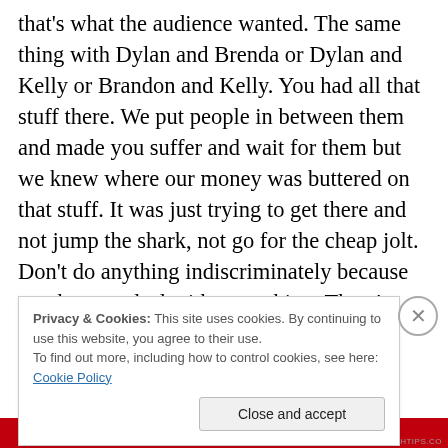that's what the audience wanted. The same thing with Dylan and Brenda or Dylan and Kelly or Brandon and Kelly. You had all that stuff there. We put people in between them and made you suffer and wait for them but we knew where our money was buttered on that stuff. It was just trying to get there and not jump the shark, not go for the cheap jolt. Don't do anything indiscriminately because you have to deal with everything. There's ramifications. You have to deal with the reality. We tried to keep emotional reality. That was really important to us. Whereas other shows like Melrose didn't have emotional
Privacy & Cookies: This site uses cookies. By continuing to use this website, you agree to their use.
To find out more, including how to control cookies, see here: Cookie Policy